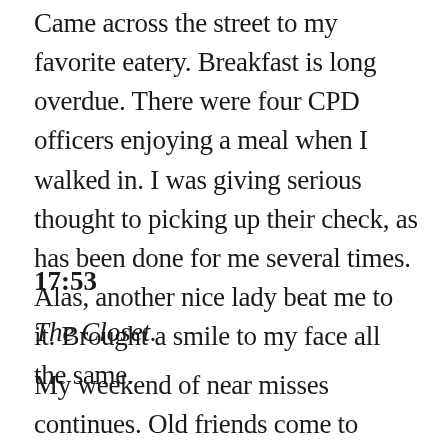Came across the street to my favorite eatery. Breakfast is long overdue. There were four CPD officers enjoying a meal when I walked in. I was giving serious thought to picking up their check, as has been done for me several times. Alas, another nice lady beat me to it. Brought a smile to my face all the same.
17:53
The Closet.
My weekend of near misses continues. Old friends come to town, and I just miss seeing them. I head